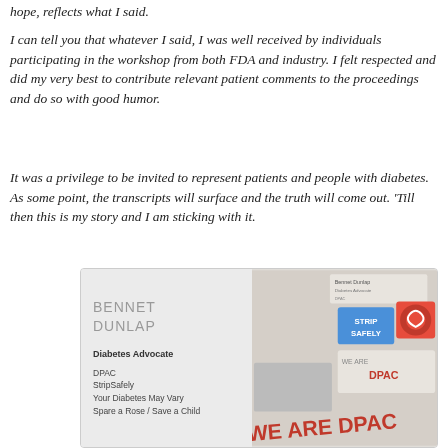hope, reflects what I said.
I can tell you that whatever I said, I was well received by individuals participating in the workshop from both FDA and industry. I felt respected and did my very best to contribute relevant patient comments to the proceedings and do so with good humor.
It was a privilege to be invited to represent patients and people with diabetes. As some point, the transcripts will surface and the truth will come out. 'Till then this is my story and I am sticking with it.
[Figure (photo): A promotional/identification card for Bennet Dunlap, Diabetes Advocate, listing DPAC, StripSafely, Your Diabetes May Vary, Spare a Rose / Save a Child, alongside a collage of advocacy stickers and badges including 'Strip Safely', 'WE ARE DPAC' text visible.]